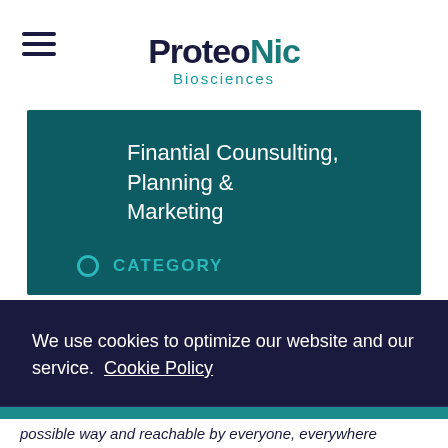[Figure (logo): ProteoNic Biosciences logo with hamburger menu icon]
Finantial Counsulting, Planning & Marketing
CATEGORY
We use cookies to optimize our website and our service.  Cookie Policy
Accept all
Dismiss
Preferences
possible way and reachable by everyone, everywhere